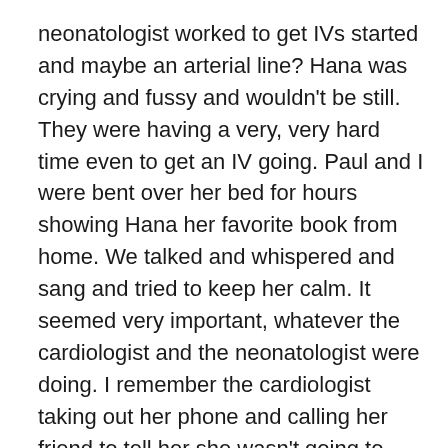neonatologist worked to get IVs started and maybe an arterial line? Hana was crying and fussy and wouldn't be still. They were having a very, very hard time even to get an IV going. Paul and I were bent over her bed for hours showing Hana her favorite book from home. We talked and whispered and sang and tried to keep her calm. It seemed very important, whatever the cardiologist and the neonatologist were doing. I remember the cardiologist taking out her phone and calling her friend to tell her she wasn't going to make it to the big birthday dinner of their other friend that night, she had to stay at the hospital. Eventually they gave up and decided to go with the two IVs. We were supposed to rest. I remember looking down at Hana in a hospital bed and in a hospital gown with all the lines hooked up to her thinking, “How did this happen so fast? How did we wake up this morning thinking our